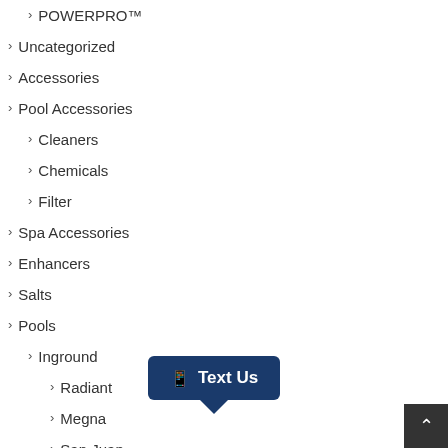> POWERPRO™
> Uncategorized
> Accessories
> Pool Accessories
> Cleaners
> Chemicals
> Filter
> Spa Accessories
> Enhancers
> Salts
> Pools
> Inground
> Radiant
> Megna
> San Juan
> Above Ground
> Radiant